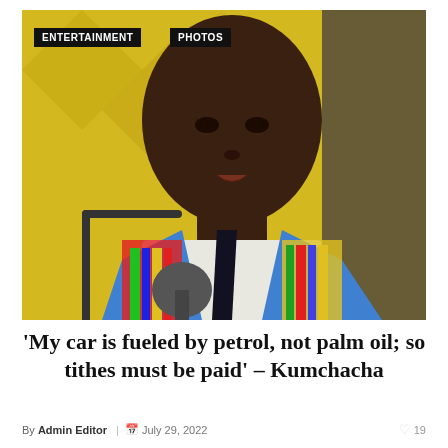[Figure (photo): A man in a colorful kente-patterned jacket with a blue suit speaking into a microphone at what appears to be a radio studio, with a yellow geometric background. Two black tag labels overlay the top-left of the image: ENTERTAINMENT and PHOTOS.]
'My car is fueled by petrol, not palm oil; so tithes must be paid' – Kumchacha
By Admin Editor  |  July 29, 2022  19